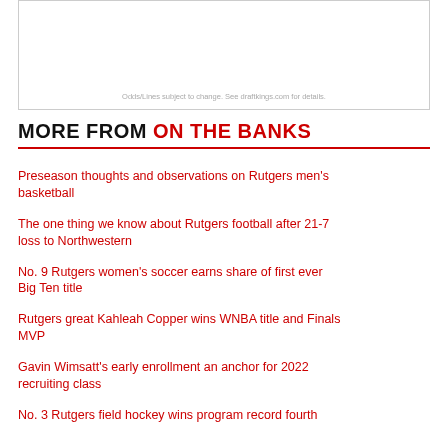[Figure (other): Advertisement box with text: Odds/Lines subject to change. See draftkings.com for details.]
Odds/Lines subject to change. See draftkings.com for details.
MORE FROM ON THE BANKS
Preseason thoughts and observations on Rutgers men's basketball
The one thing we know about Rutgers football after 21-7 loss to Northwestern
No. 9 Rutgers women's soccer earns share of first ever Big Ten title
Rutgers great Kahleah Copper wins WNBA title and Finals MVP
Gavin Wimsatt's early enrollment an anchor for 2022 recruiting class
No. 3 Rutgers field hockey wins program record fourth